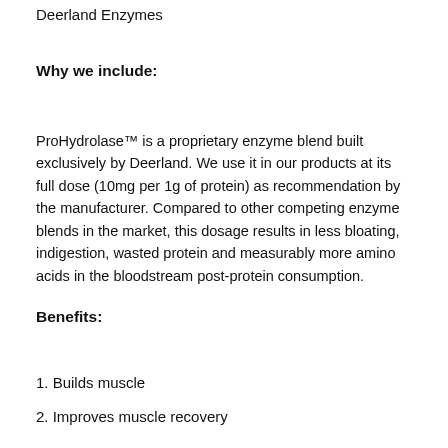Deerland Enzymes
Why we include:
ProHydrolase™ is a proprietary enzyme blend built exclusively by Deerland. We use it in our products at its full dose (10mg per 1g of protein) as recommendation by the manufacturer. Compared to other competing enzyme blends in the market, this dosage results in less bloating, indigestion, wasted protein and measurably more amino acids in the bloodstream post-protein consumption.
Benefits:
1. Builds muscle
2. Improves muscle recovery